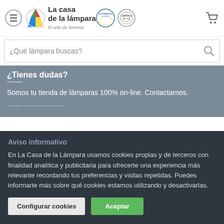[Figure (logo): La casa de la lámpara logo with colorful triangle icon, Ecommerce Europe badge, Confianza Online badge, and shopping cart icon]
¿Qué lámpara buscas?
¿Tienes dudas?
Somos tu tienda de lámparas 100% on-line. Contactarnos.
Aviso informativo
En La Casa de la Lámpara usamos cookies propias y de terceros con finalidad analítica y publicitaria para ofrecerte una experiencia más relevante recordando tus preferencias y visitas repetidas. Puedes informarte más sobre qué cookies estamos utilizando y desactivarlas.
Configurar cookies
Aceptar